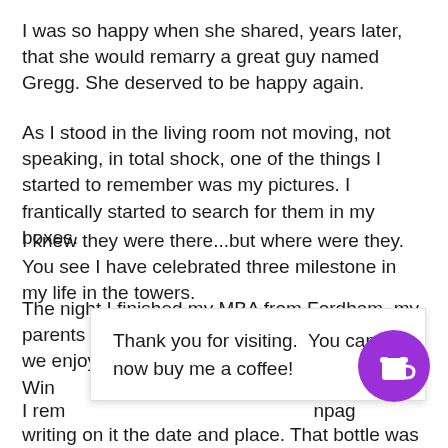I was so happy when she shared, years later, that she would remarry a great guy named Gregg. She deserved to be happy again.
As I stood in the living room not moving, not speaking, in total shock, one of the things I started to remember was my pictures. I frantically started to search for them in my boxes.
I knew they were there...but where were they. You see I have celebrated three milestone in my life in the towers.
The night I finished my MBA from Fordham, my parents picked me up after the last exam and we enjoyed dinner together at Win                                                               with the mos
Thank you for visiting. You can now buy me a coffee!
I rem                                                              npag
writing on it the date and place. That bottle was kept on the